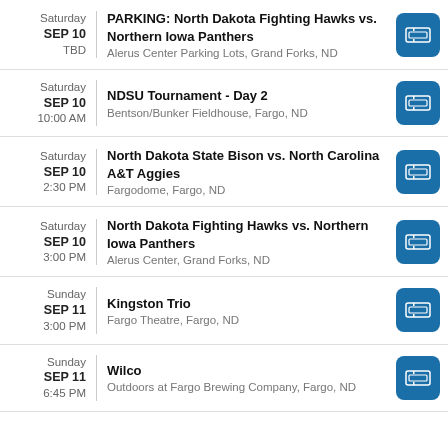Saturday SEP 10 TBD | PARKING: North Dakota Fighting Hawks vs. Northern Iowa Panthers | Alerus Center Parking Lots, Grand Forks, ND
Saturday SEP 10 10:00 AM | NDSU Tournament - Day 2 | Bentson/Bunker Fieldhouse, Fargo, ND
Saturday SEP 10 2:30 PM | North Dakota State Bison vs. North Carolina A&T Aggies | Fargodome, Fargo, ND
Saturday SEP 10 3:00 PM | North Dakota Fighting Hawks vs. Northern Iowa Panthers | Alerus Center, Grand Forks, ND
Sunday SEP 11 3:00 PM | Kingston Trio | Fargo Theatre, Fargo, ND
Sunday SEP 11 6:45 PM | Wilco | Outdoors at Fargo Brewing Company, Fargo, ND